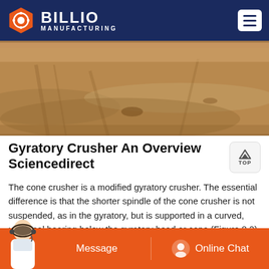BILLIO MANUFACTURING
[Figure (photo): Aerial or ground-level view of a sandy/earthy terrain or mining site, brownish dirt ground with tire tracks visible.]
Gyratory Crusher An Overview Sciencedirect
The cone crusher is a modified gyratory crusher. The essential difference is that the shorter spindle of the cone crusher is not suspended, as in the gyratory, but is supported in a curved, universal bearing below the gyratory head or cone (Figure 8.2). Power is transmitted from the source to the countershaft to a V-belt or direct drive.
Message   Online Chat